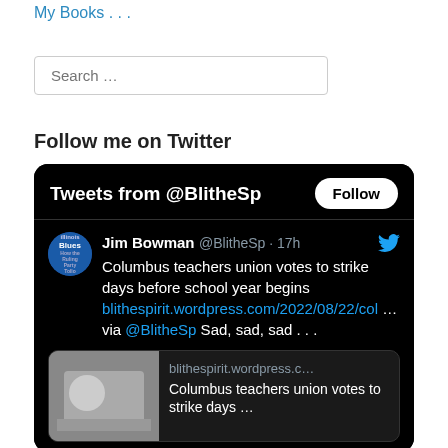My Books . . .
Search …
Follow me on Twitter
[Figure (screenshot): Twitter embed widget showing 'Tweets from @BlitheSp' header with Follow button, and a tweet by Jim Bowman @BlitheSp 17h: 'Columbus teachers union votes to strike days before school year begins blithespirit.wordpress.com/2022/08/22/col ... via @BlitheSp Sad, sad, sad ...' with a preview card showing 'blithespirit.wordpress.c... Columbus teachers union votes to strike days ...']